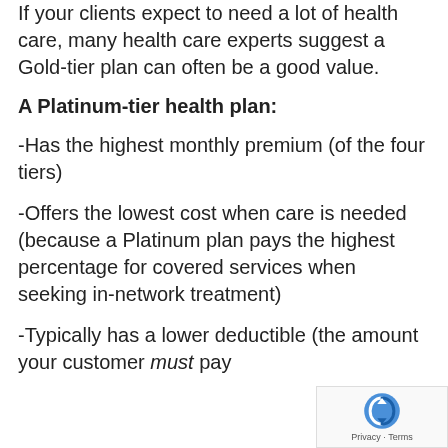If your clients expect to need a lot of health care, many health care experts suggest a Gold-tier plan can often be a good value.
A Platinum-tier health plan:
-Has the highest monthly premium (of the four tiers)
-Offers the lowest cost when care is needed (because a Platinum plan pays the highest percentage for covered services when seeking in-network treatment)
-Typically has a lower deductible (the amount your customer must pay